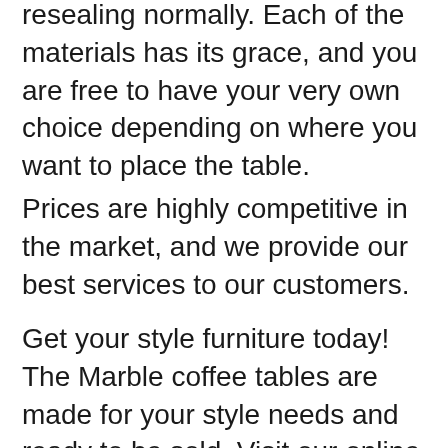resealing normally. Each of the materials has its grace, and you are free to have your very own choice depending on where you want to place the table.
Prices are highly competitive in the market, and we provide our best services to our customers.
Get your style furniture today! The Marble coffee tables are made for your style needs and ready to be sold. Visit our online store today. Just log on